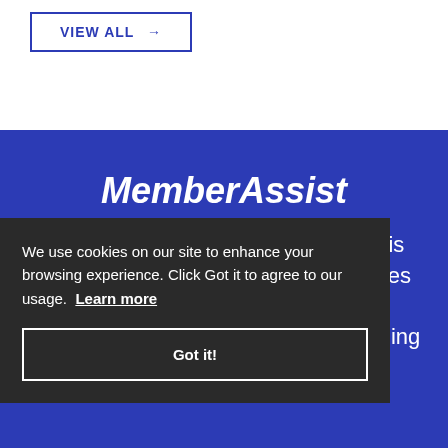VIEW ALL →
MemberAssist
Our team of subject matter experts is always available to talk through issues involving best
We use cookies on our site to enhance your browsing experience. Click Got it to agree to our usage. Learn more
Got it!